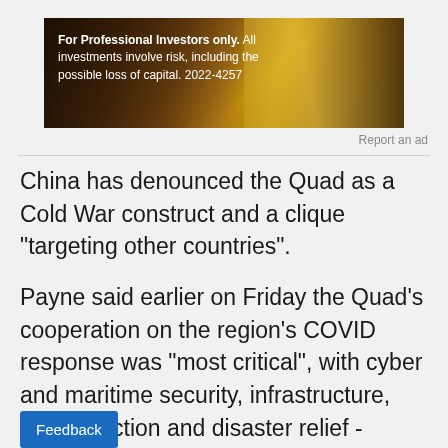[Figure (photo): Advertisement banner image with dark golden/brown tones showing industrial imagery with text overlay for professional investors]
Report an ad
China has denounced the Quad as a Cold War construct and a clique "targeting other countries".
Payne said earlier on Friday the Quad's cooperation on the region's COVID response was "most critical", with cyber and maritime security, infrastructure, climate action and disaster relief - especially after the recent Tonga volcanic eruption - also in focus.
The Quad nations have begun holding annual naval ex[ercises ac]ross the Indo-Pacific to demonstrate